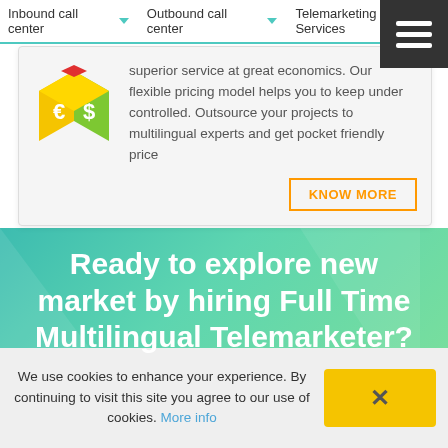Inbound call center | Outbound call center | Telemarketing Services
[Figure (illustration): Yellow and green 3D cube with euro and dollar currency symbols on the faces]
superior service at great economics. Our flexible pricing model helps you to keep under controlled. Outsource your projects to multilingual experts and get pocket friendly price
KNOW MORE
Ready to explore new market by hiring Full Time Multilingual Telemarketer?
We use cookies to enhance your experience. By continuing to visit this site you agree to our use of cookies. More info